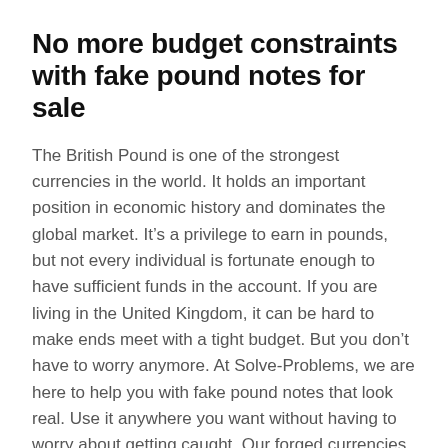No more budget constraints with fake pound notes for sale
The British Pound is one of the strongest currencies in the world. It holds an important position in economic history and dominates the global market. It’s a privilege to earn in pounds, but not every individual is fortunate enough to have sufficient funds in the account. If you are living in the United Kingdom, it can be hard to make ends meet with a tight budget. But you don’t have to worry anymore. At Solve-Problems, we are here to help you with fake pound notes that look real. Use it anywhere you want without having to worry about getting caught. Our forged currencies have been in circulation over the years, and no customer has faced a problem to date. Just stay away from the banks, and you are good to go!